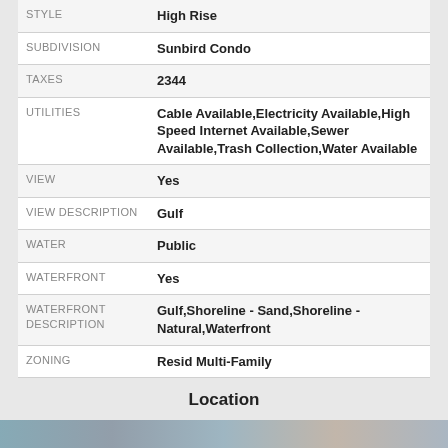| Field | Value |
| --- | --- |
| STYLE | High Rise |
| SUBDIVISION | Sunbird Condo |
| TAXES | 2344 |
| UTILITIES | Cable Available,Electricity Available,High Speed Internet Available,Sewer Available,Trash Collection,Water Available |
| VIEW | Yes |
| VIEW DESCRIPTION | Gulf |
| WATER | Public |
| WATERFRONT | Yes |
| WATERFRONT DESCRIPTION | Gulf,Shoreline - Sand,Shoreline - Natural,Waterfront |
| ZONING | Resid Multi-Family |
Location
[Figure (photo): Photo strip showing coastal/waterfront property images]